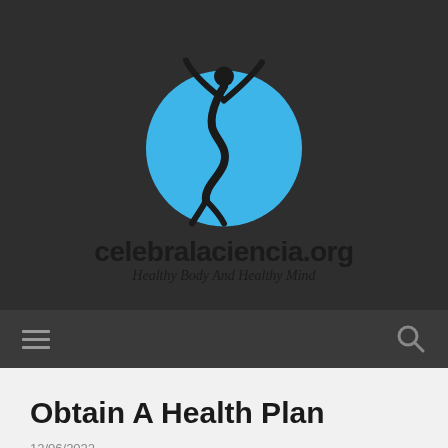[Figure (logo): celebralaciencia.org logo: blue circle with stylized human figure raising arms, dark background, site name and tagline below]
Obtain A Health Plan
12/06/2022